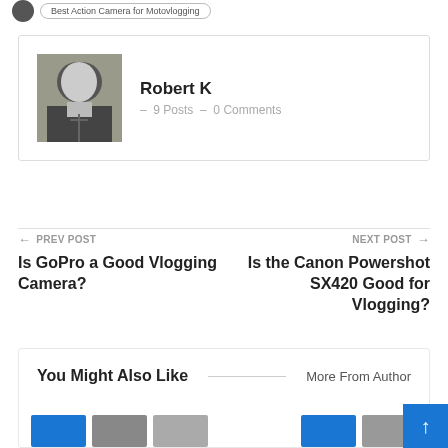[Figure (other): User icon and tag label reading 'Best Action Camera for Motovlogging']
[Figure (photo): Author profile photo: man in dark suit, black and white style]
Robert K  –  9 Posts  –  0 Comments
← PREV POST
Is GoPro a Good Vlogging Camera?
NEXT POST →
Is the Canon Powershot SX420 Good for Vlogging?
You Might Also Like
More From Author
[Figure (other): Thumbnail strip at bottom of page with blue and grey boxes]